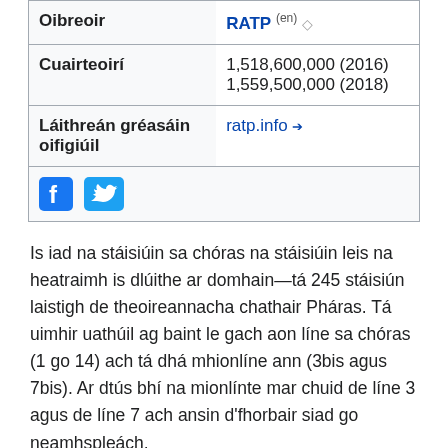| Field | Value |
| --- | --- |
| Oibreoir | RATP (en) |
| Cuairteoirí | 1,518,600,000 (2016)
1,559,500,000 (2018) |
| Láithreán gréasáin oifigiúil | ratp.info |
|  | Facebook Twitter |
Is iad na stáisiúin sa chóras na stáisiúin leis na heatraimh is dlúithe ar domhain—tá 245 stáisiún laistigh de theoireannacha chathair Pháras. Tá uimhir uathúil ag baint le gach aon líne sa chóras (1 go 14) ach tá dhá mhionlíne ann (3bis agus 7bis). Ar dtús bhí na mionlínte mar chuid de líne 3 agus de líne 7 ach ansin d'fhorbair siad go neamhspleách.
Aithnítear na línte ar léarscáileanna mar gheall ar a ndath